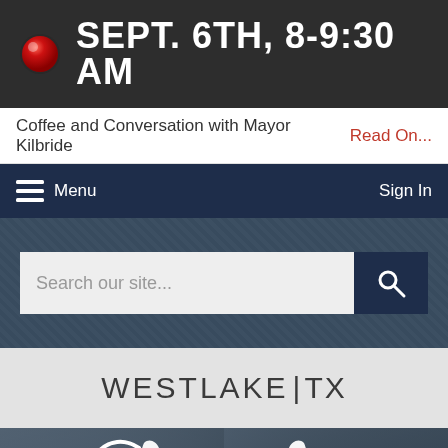SEPT. 6TH, 8-9:30 AM
Coffee and Conversation with Mayor Kilbride  Read On...
Menu   Sign In
Search our site...
[Figure (logo): WESTLAKE|TX text logo on light grey band]
[Figure (photo): Hero background with large white cursive W letter over stone texture background]
Select Language ▼